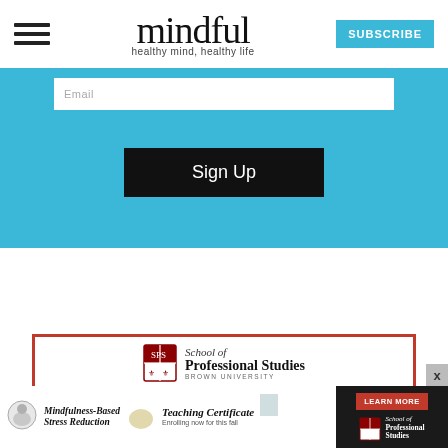mindful — healthy mind, healthy life
Email
Sign Up
[Figure (screenshot): Brown University School of Professional Studies advertisement with text: This month our podcasts are made possible in part by the]
[Figure (screenshot): Bottom banner showing Mindfulness-Based Stress Reduction Teaching Certificate — Enrolling now for this fall, with LEARN MORE button and School of Professional Studies logo on dark background]